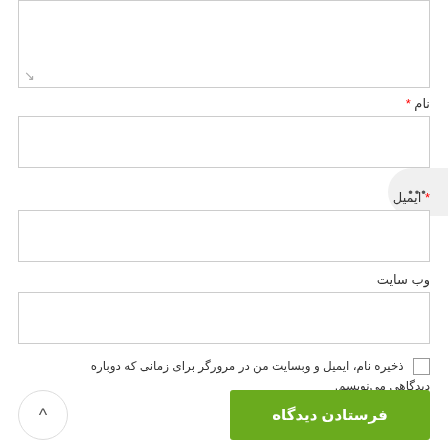[Figure (other): Text area input box (comment field) with resize handle at bottom-left]
نام *
[Figure (other): Text input field for name]
[Figure (other): Chat/more options bubble with three dots]
ایمیل *
[Figure (other): Text input field for email]
وب سایت
[Figure (other): Text input field for website]
ذخیره نام، ایمیل و وبسایت من در مرورگر برای زمانی که دوباره دیدگاهی می‌نویسم.
فرستادن دیدگاه